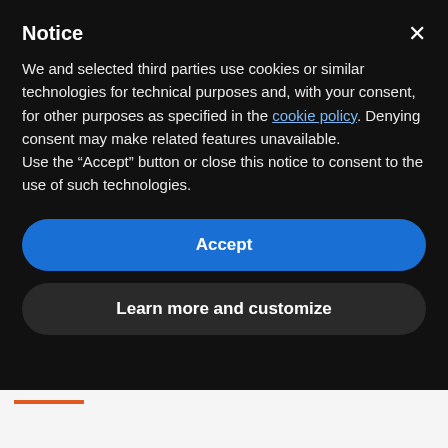Notice
We and selected third parties use cookies or similar technologies for technical purposes and, with your consent, for other purposes as specified in the cookie policy. Denying consent may make related features unavailable.
Use the “Accept” button or close this notice to consent to the use of such technologies.
Accept
Learn more and customize
Buy Windows 11 Enterprise at the best price and install with an official Microsoft ISO file. Activate the new Windows 11 version – 100% genuine, fast and modern, the best for Enterprise